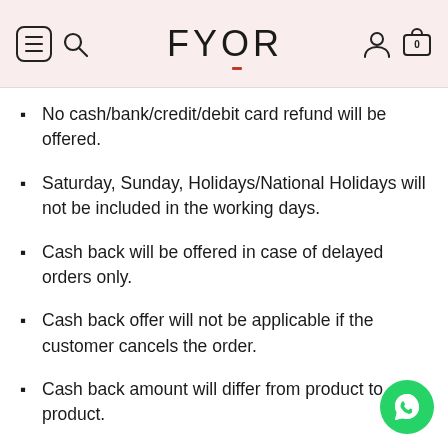FYOR
No cash/bank/credit/debit card refund will be offered.
Saturday, Sunday, Holidays/National Holidays will not be included in the working days.
Cash back will be offered in case of delayed orders only.
Cash back offer will not be applicable if the customer cancels the order.
Cash back amount will differ from product to product.
FYOR.IN has the right to withdraw or amend the offer at any time without any prior notice.